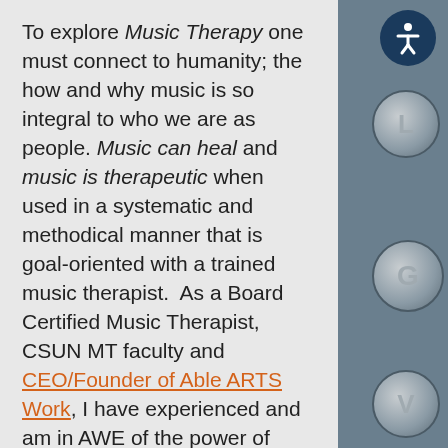To explore Music Therapy one must connect to humanity; the how and why music is so integral to who we are as people. Music can heal and music is therapeutic when used in a systematic and methodical manner that is goal-oriented with a trained music therapist.  As a Board Certified Music Therapist, CSUN MT faculty and CEO/Founder of Able ARTS Work, I have experienced and am in AWE of the power of music throughout my nearly 40 year career, continuing to learn something new everyday.
Music Therapy can lead to reduction of anxiety, depression due to isolation and other factors and can